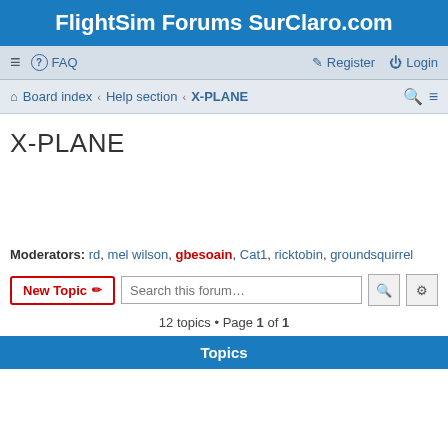FlightSim Forums SurClaro.com
≡  FAQ    Register  Login
Board index › Help section › X-PLANE
X-PLANE
Moderators: rd, mel wilson, gbesoain, Cat1, ricktobin, groundsquirrel
New Topic ✏  Search this forum…  🔍  ⚙
12 topics • Page 1 of 1
Topics